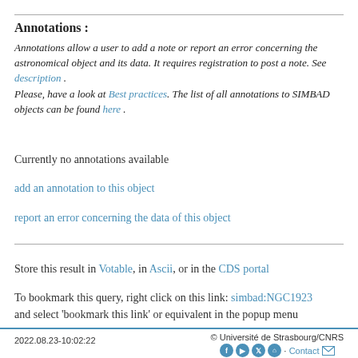Annotations :
Annotations allow a user to add a note or report an error concerning the astronomical object and its data. It requires registration to post a note. See description . Please, have a look at Best practices. The list of all annotations to SIMBAD objects can be found here .
Currently no annotations available
add an annotation to this object
report an error concerning the data of this object
Store this result in Votable, in Ascii, or in the CDS portal
To bookmark this query, right click on this link: simbad:NGC1923 and select 'bookmark this link' or equivalent in the popup menu
2022.08.23-10:02:22   © Université de Strasbourg/CNRS   Contact